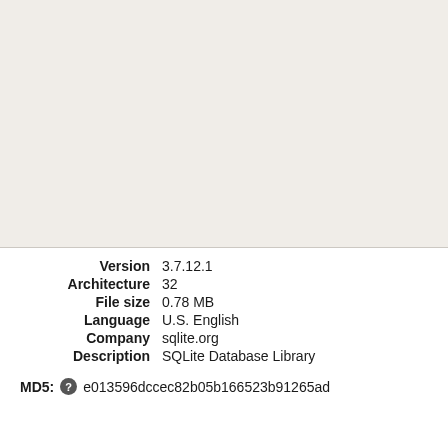[Figure (other): Gray/beige empty panel area at the top of the page]
Version 3.7.12.1
Architecture 32
File size 0.78 MB
Language U.S. English
Company sqlite.org
Description SQLite Database Library
MD5: e013596dccec82b05b166523b91265ad